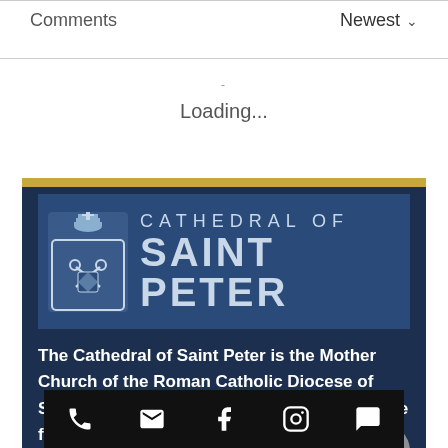Comments
Newest ∨
Loading...
[Figure (screenshot): Cathedral of Saint Peter logo on dark navy background with gold top bar, showing crest icon and church name text]
The Cathedral of Saint Peter is the Mother Church of the Roman Catholic Diocese of Scranton. The Cathedral has been serving the faithful of the diocese and beyond